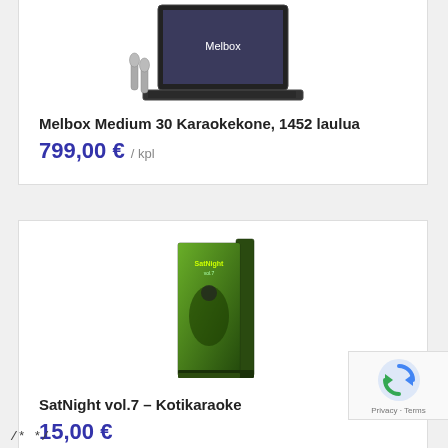[Figure (photo): Laptop computer with two microphones, product image for Melbox Medium 30 Karaokekone]
Melbox Medium 30 Karaokekone, 1452 laulua
799,00 € / kpl
[Figure (photo): DVD box for SatNight vol.7 Kotikaraoke, green cover with singer image]
SatNight vol.7 – Kotikaraoke
15,00 €
[Figure (logo): Google reCAPTCHA badge with Privacy and Terms links]
/* */